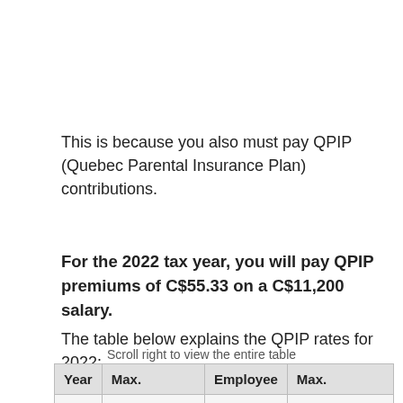This is because you also must pay QPIP (Quebec Parental Insurance Plan) contributions.
For the 2022 tax year, you will pay QPIP premiums of C$55.33 on a C$11,200 salary.
The table below explains the QPIP rates for 2022:
Scroll right to view the entire table
| Year | Max. | Employee | Max. |
| --- | --- | --- | --- |
|  | Insurable Earnings | Rate | Employee Premium |